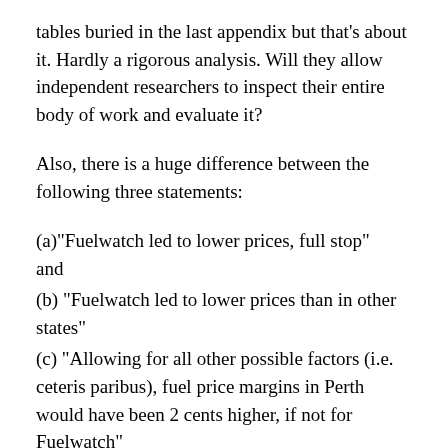tables buried in the last appendix but that's about it. Hardly a rigorous analysis. Will they allow independent researchers to inspect their entire body of work and evaluate it?
Also, there is a huge difference between the following three statements:
(a)“Fuelwatch led to lower prices, full stop” and
(b) “Fuelwatch led to lower prices than in other states”
(c) “Allowing for all other possible factors (i.e. ceteris paribus), fuel price margins in Perth would have been 2 cents higher, if not for Fuelwatch”